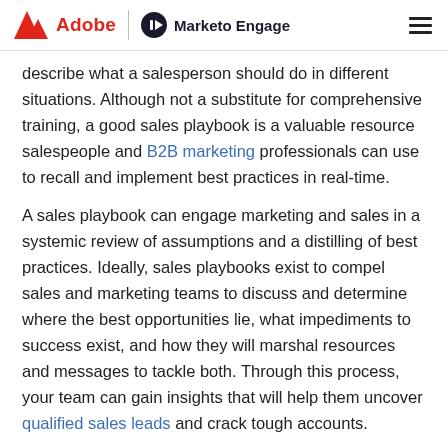Adobe | Marketo Engage
describe what a salesperson should do in different situations. Although not a substitute for comprehensive training, a good sales playbook is a valuable resource salespeople and B2B marketing professionals can use to recall and implement best practices in real-time.
A sales playbook can engage marketing and sales in a systemic review of assumptions and a distilling of best practices. Ideally, sales playbooks exist to compel sales and marketing teams to discuss and determine where the best opportunities lie, what impediments to success exist, and how they will marshal resources and messages to tackle both. Through this process, your team can gain insights that will help them uncover qualified sales leads and crack tough accounts.
Brought to you by the thought leaders at Marketo and